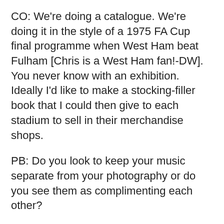CO: We're doing a catalogue. We're doing it in the style of a 1975 FA Cup final programme when West Ham beat Fulham [Chris is a West Ham fan!-DW]. You never know with an exhibition. Ideally I'd like to make a stocking-filler book that I could then give to each stadium to sell in their merchandise shops.
PB: Do you look to keep your music separate from your photography or do you see them as complimenting each other?
CO: The thing is I'm an artist and I've always considered myself to be an artist. Whatever I do I try and do it because I feel an inner voice and I want to create it. When I've tried to do anything vaguely commercial I reel away from it.
I'm currently running a separate business with my friend and we make effects pedals and distortion boxes and